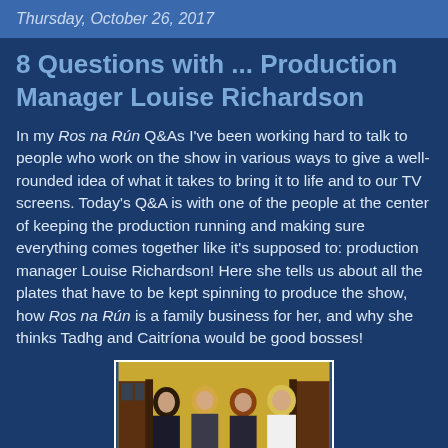Thursday, October 26, 2017
8 Questions with ... Production Manager Louise Richardson
In my Ros na Rún Q&As I've been working hard to talk to people who work on the show in various ways to give a well-rounded idea of what it takes to bring it to life and to our TV screens. Today's Q&A is with one of the people at the center of keeping the production running and making sure everything comes together like it's supposed to: production manager Louise Richardson! Here she tells us about all the plates that have to be kept spinning to produce the show, how Ros na Rún is a family business for her, and why she thinks Tadhg and Caitríona would be good bosses!
[Figure (photo): Group photo of four women standing outside a building with yellow walls and dark wooden doors.]